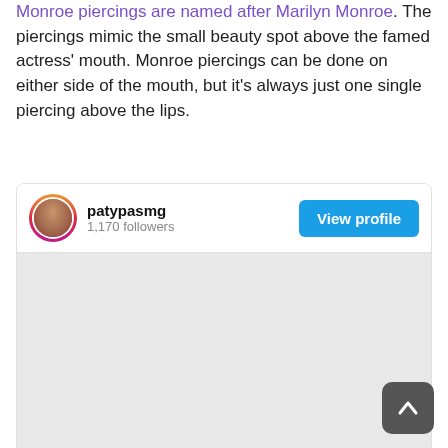Monroe piercings are named after Marilyn Monroe. The piercings mimic the small beauty spot above the famed actress' mouth. Monroe piercings can be done on either side of the mouth, but it's always just one single piercing above the lips.
[Figure (screenshot): Instagram profile card for user 'patypasmg' with 1,170 followers and a 'View profile' button, followed by a grey content area and a back-to-top arrow button.]